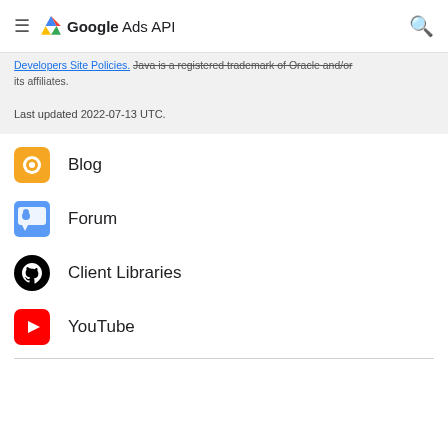Google Ads API
Developers Site Policies. Java is a registered trademark of Oracle and/or its affiliates.
Last updated 2022-07-13 UTC.
Blog
Forum
Client Libraries
YouTube